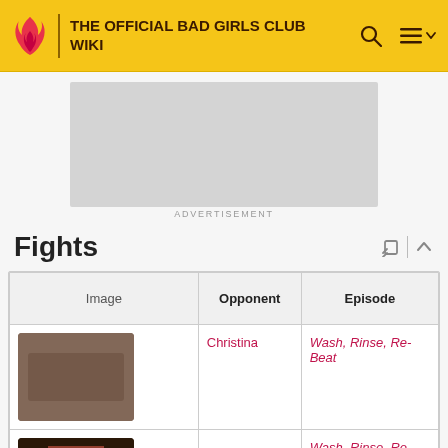THE OFFICIAL BAD GIRLS CLUB WIKI
[Figure (other): Advertisement placeholder banner]
ADVERTISEMENT
Fights
| Image | Opponent | Episode |
| --- | --- | --- |
| [image] | Christina | Wash, Rinse, Re-Beat |
| [image] |  | Wash, Rinse, Re- |